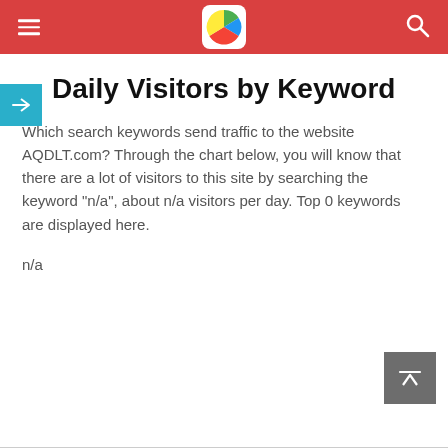Daily Visitors by Keyword — site analytics header with logo and navigation
Daily Visitors by Keyword
Which search keywords send traffic to the website AQDLT.com? Through the chart below, you will know that there are a lot of visitors to this site by searching the keyword "n/a", about n/a visitors per day. Top 0 keywords are displayed here.
n/a